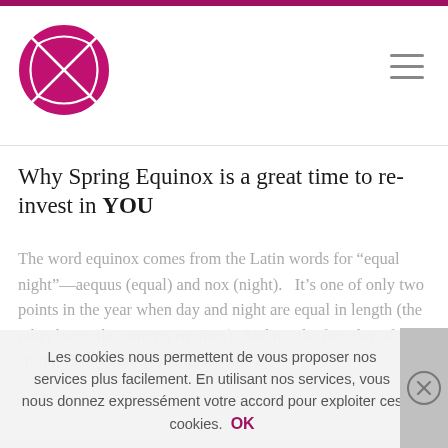Why Spring Equinox is a great time to re-invest in YOU
Why Spring Equinox is a great time to re-invest in YOU
The word equinox comes from the Latin words for “equal night”—aequus (equal) and nox (night).   It’s one of only two points in the year when day and night are equal in length (the other being the autumn equinox). And it’s the first day of spring.  The equinox marks a point…
Les cookies nous permettent de vous proposer nos services plus facilement. En utilisant nos services, vous nous donnez expressément votre accord pour exploiter ces cookies. OK